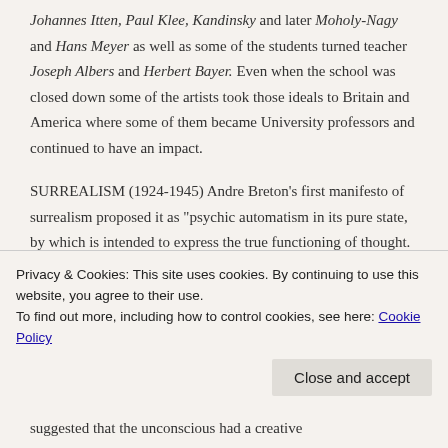Johannes Itten, Paul Klee, Kandinsky and later Moholy-Nagy and Hans Meyer as well as some of the students turned teacher Joseph Albers and Herbert Bayer. Even when the school was closed down some of the artists took those ideals to Britain and America where some of them became University professors and continued to have an impact.
SURREALISM (1924-1945) Andre Breton's first manifesto of surrealism proposed it as “psychic automatism in its pure state, by which is intended to express the true functioning of thought. Thought expressed in the absence of any control exerted by reason, and outside all moral and aesthetic considerations” – which suggested that the unconscious had a creative
Privacy & Cookies: This site uses cookies. By continuing to use this website, you agree to their use.
To find out more, including how to control cookies, see here: Cookie Policy